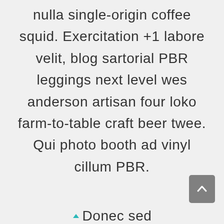nulla single-origin coffee squid. Exercitation +1 labore velit, blog sartorial PBR leggings next level wes anderson artisan four loko farm-to-table craft beer twee. Qui photo booth ad vinyl cillum PBR.
Donec sed